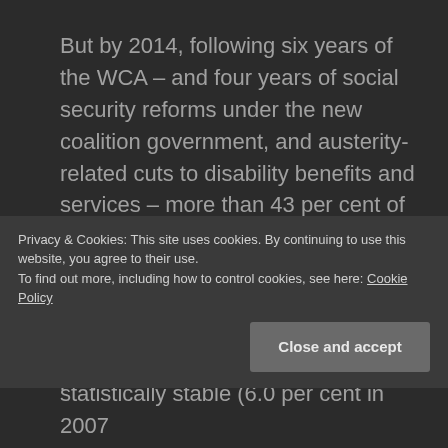But by 2014, following six years of the WCA – and four years of social security reforms under the new coalition government, and austerity-related cuts to disability benefits and services – more than 43 per cent of claimants were saying they had attempted suicide at some point in their lives.
Over the same period, the proportion of
Privacy & Cookies: This site uses cookies. By continuing to use this website, you agree to their use.
To find out more, including how to control cookies, see here: Cookie Policy
statistically stable (6.0 per cent in 2007